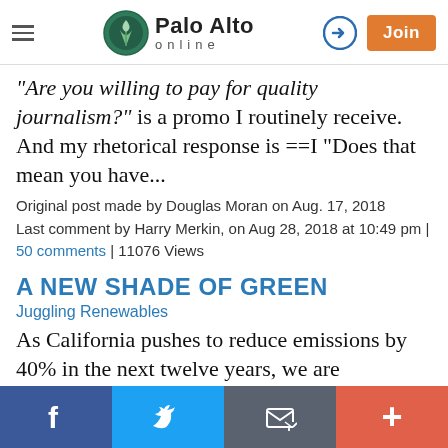Palo Alto online — navigation header with hamburger menu, logo, login icon, and Join button
"Are you willing to pay for quality journalism?" is a promo I routinely receive. And my rhetorical response is ==I "Does that mean you have...
Original post made by Douglas Moran on Aug. 17, 2018
Last comment by Harry Merkin, on Aug 28, 2018 at 10:49 pm | 50 comments | 11076 Views
A NEW SHADE OF GREEN
Juggling Renewables
As California pushes to reduce emissions by 40% in the next twelve years, we are increasingly betting on clean electricity.
Facebook | Twitter | Email | Plus social sharing bar